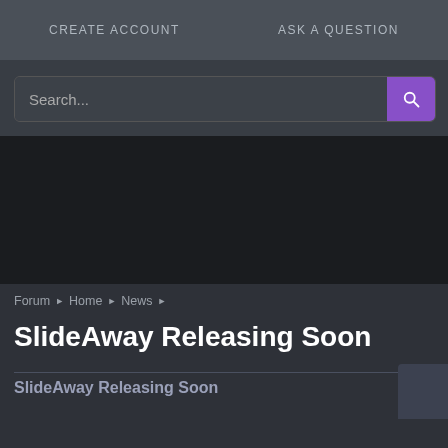CREATE ACCOUNT    ASK A QUESTION
Search...
Forum ▶ Home ▶ News ▶
SlideAway Releasing Soon
SlideAway Releasing Soon